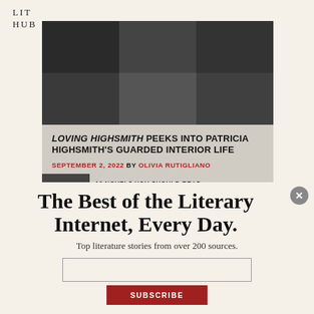LIT HUB
[Figure (photo): Dark mosaic/grid photo header image for article about Loving Highsmith]
LOVING HIGHSMITH PEEKS INTO PATRICIA HIGHSMITH'S GUARDED INTERIOR LIFE
SEPTEMBER 2, 2022 BY OLIVIA RUTIGLIANO
[Figure (photo): Partially visible next article thumbnail with text '10 NOVELS YOU SHOULD READ']
The Best of the Literary Internet, Every Day.
Top literature stories from over 200 sources.
SUBSCRIBE